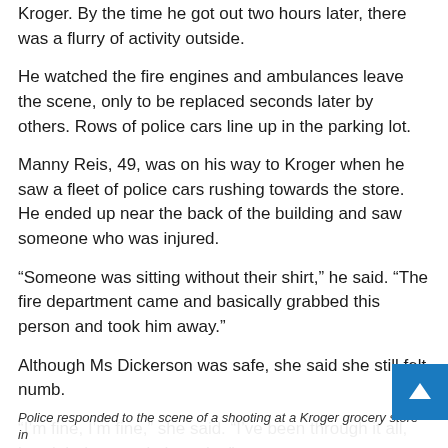Kroger. By the time he got out two hours later, there was a flurry of activity outside.
He watched the fire engines and ambulances leave the scene, only to be replaced seconds later by others. Rows of police cars line up in the parking lot.
Manny Reis, 49, was on his way to Kroger when he saw a fleet of police cars rushing towards the store. He ended up near the back of the building and saw someone who was injured.
“Someone was sitting without their shirt,” he said. “The fire department came and basically grabbed this person and took him away.”
Although Ms Dickerson was safe, she said she still felt numb.
“I’m fine, I’m fine,” she said. “I’ve been through it all, but right here took the cake.”
Police responded to the scene of a shooting at a Kroger grocery store in